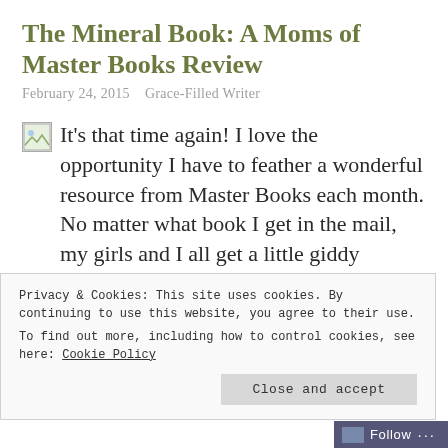The Mineral Book: A Moms of Master Books Review
February 24, 2015   Grace-Filled Writer
It’s that time again! I love the opportunity I have to feather a wonderful resource from Master Books each month. No matter what book I get in the mail, my girls and I all get a little giddy
Privacy & Cookies: This site uses cookies. By continuing to use this website, you agree to their use. To find out more, including how to control cookies, see here: Cookie Policy
Close and accept
Follow